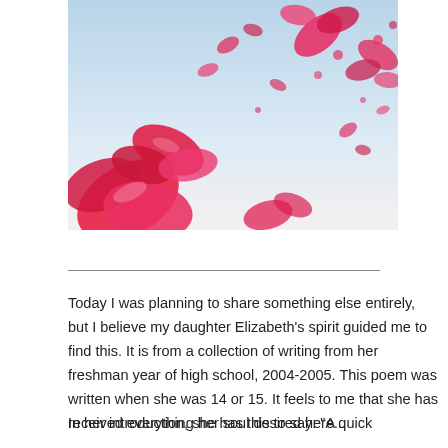[Figure (illustration): Rose petals floating/falling against a light blue and white sky background]
Today I was planning to share something else entirely, but I believe my daughter Elizabeth’s spirit guided me to find this.  It is from a collection of writing from her freshman year of high school, 2004-2005.  This poem was written when she was 14 or 15. It feels to me that she has received everything her soul desired here...
In her introduction, she has this to say: “A quick